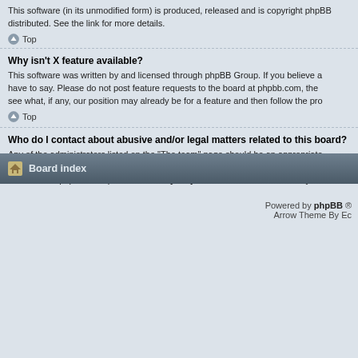This software (in its unmodified form) is produced, released and is copyright phpBB distributed. See the link for more details.
Top
Why isn't X feature available?
This software was written by and licensed through phpBB Group. If you believe a have to say. Please do not post feature requests to the board at phpbb.com, the see what, if any, our position may already be for a feature and then follow the pro
Top
Who do I contact about abusive and/or legal matters related to this board?
Any of the administrators listed on the “The team” page should be an appropriate owner of the domain (do a whois lookup) or, if this is running on a free service (e. note that the phpBB Group has absolutely no jurisdiction and cannot in any wa Group in relation to any legal (cease and desist, liable, defamatory comment, etc If you do e-mail phpBB Group about any third party use of this software then yo
Top
Board index
Powered by phpBB ® Arrow Theme By Ec